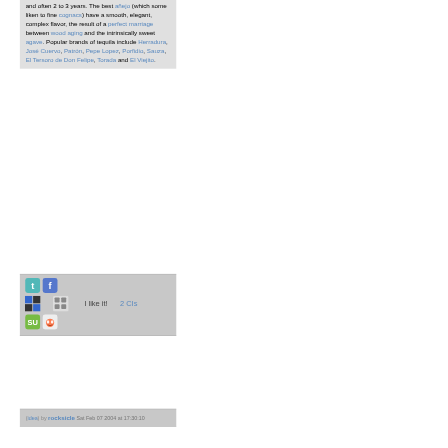and often 2 to 3 years. The best añejo (which some liken to fine cognacs) have a smooth, elegant, complex flavor, the result of a perfect marriage between wood aging and the intrinsically sweet agave. Popular brands of tequila include Herradura, José Cuervo, Patrón, Pepe Lopez, Porfidio, Sauza, El Tersoro de Don Felipe, Torada and El Viejito.
[Figure (other): Social sharing icons bar with Twitter, Facebook, Delicious, Digg, StumbleUpon, Reddit icons, plus 'I like it!' button and '2 CIs' count]
(idea) by rocksicle Sat Feb 07 2004 at 17:30:10